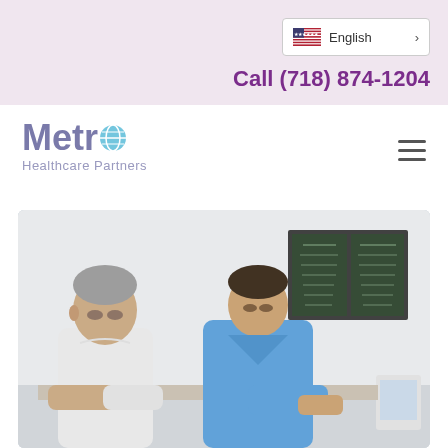English language selector and Call (718) 874-1204
[Figure (logo): Metro Healthcare Partners logo with stylized globe icon in the letter 'o']
Call (718) 874-1204
[Figure (photo): A doctor in blue scrubs and an older male patient both looking down at something on a table, with X-ray images visible on a light board in the background]